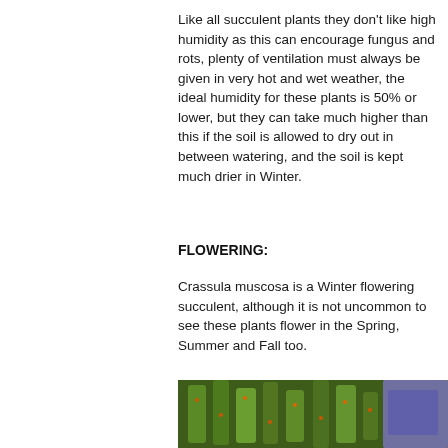Like all succulent plants they don't like high humidity as this can encourage fungus and rots, plenty of ventilation must always be given in very hot and wet weather, the ideal humidity for these plants is 50% or lower, but they can take much higher than this if the soil is allowed to dry out in between watering, and the soil is kept much drier in Winter.
FLOWERING:
Crassula muscosa is a Winter flowering succulent, although it is not uncommon to see these plants flower in the Spring, Summer and Fall too.
[Figure (photo): Close-up photograph of Crassula muscosa (watch chain plant) showing green succulent stems with small overlapping leaves and tiny orange-red flowers or buds, with a blurred purple/blue pot in the background.]